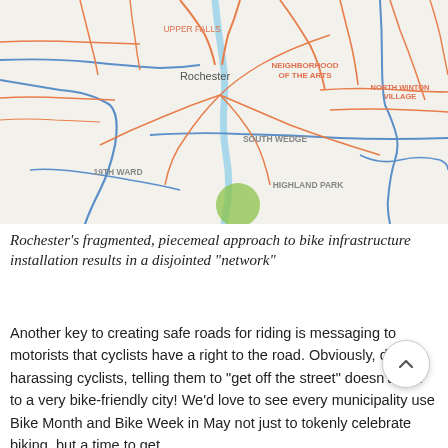[Figure (map): Street map of Rochester showing a fragmented bike infrastructure network. Orange lines represent bike routes/lanes, blue lines represent other paths or roads, and a prominent green circle highlights a specific location near Highland Park in the southern part of the city. Neighborhood labels visible include Upper Falls, Rochester, Neighborhood of the Arts, North Winton Village, South Wedge, Highland Park, and 19th Ward.]
Rochester's fragmented, piecemeal approach to bike infrastructure installation results in a disjointed "network"
Another key to creating safe roads for riding is messaging to motorists that cyclists have a right to the road. Obviously, drivers harassing cyclists, telling them to "get off the street" doesn't lead to a very bike-friendly city! We'd love to see every municipality use Bike Month and Bike Week in May not just to tokenly celebrate biking, but a time to get